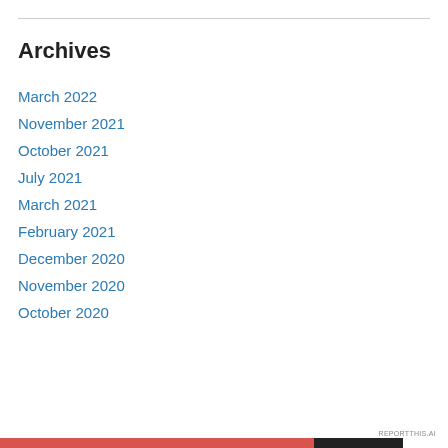Archives
March 2022
November 2021
October 2021
July 2021
March 2021
February 2021
December 2020
November 2020
October 2020
Privacy & Cookies: This site uses cookies. By continuing to use this website, you agree to their use.
To find out more, including how to control cookies, see here: Cookie Policy
Close and accept